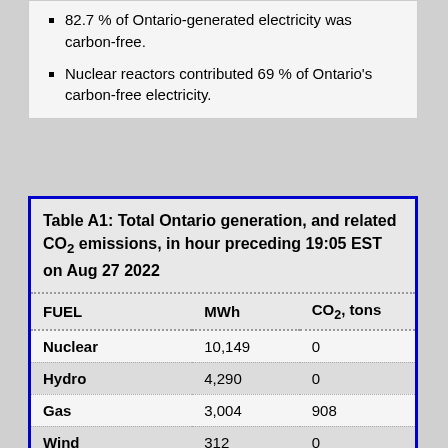82.7 % of Ontario-generated electricity was carbon-free.
Nuclear reactors contributed 69 % of Ontario's carbon-free electricity.
| FUEL | MWh | CO₂, tons |
| --- | --- | --- |
| Nuclear | 10,149 | 0 |
| Hydro | 4,290 | 0 |
| Gas | 3,004 | 908 |
| Wind | 312 | 0 |
| Biofuel | 33 | 33 |